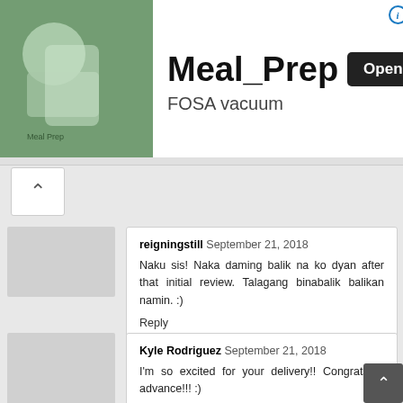[Figure (screenshot): Advertisement banner for Meal_Prep FOSA vacuum app with food preparation image on left, app name and Open button on right]
reigningstill  September 21, 2018
Naku sis! Naka daming balik na ko dyan after that initial review. Talagang binabalik balikan namin. :)
Reply
Kyle Rodriguez  September 21, 2018
I'm so excited for your delivery!! Congrats in advance!!! :)
http://itsthekyliebabii.blogspot.com
Reply
Pam @ Hey, Miss Adventures!  September 21, 2018